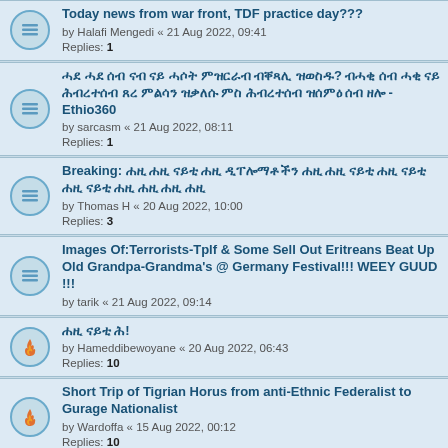Today news from war front, TDF practice day??? by Halafi Mengedi « 21 Aug 2022, 09:41 Replies: 1
ሓደ ሓደ ሰብ ናብ ናይ ሓሶት ምዝርራብ ብቐጻሊ ዝወስዱ? ብሓቂ ሰብ ሓቂ ናይ ሕብረተሰብ ጸረ ምልሳን ዝቃለሱ ምስ ሕብረተሰብ ዝሰምዕ ሰብ ዘሎ - Ethio360 by sarcasm « 21 Aug 2022, 08:11 Replies: 1
Breaking: ሐዚ ዘሎ ናይ ሓደ ዲፐሎማት ሐዚ ዘሎ ናውቲ ሐዚ ናይ ሐዚ ናይ ናይ ሐዚ ሐዚ by Thomas H « 20 Aug 2022, 10:00 Replies: 3
Images Of:Terrorists-Tplf & Some Sell Out Eritreans Beat Up Old Grandpa-Grandma's @ Germany Festival!!! WEEY GUUD !!! by tarik « 21 Aug 2022, 09:14
ሐዚ ናይቲ ሕ! by Hameddibewoyane « 20 Aug 2022, 06:43 Replies: 10
Short Trip of Tigrian Horus from anti-Ethnic Federalist to Gurage Nationalist by Wardoffa « 15 Aug 2022, 00:12 Replies: 10
BBC ናይ:- ናይቲ ሐዚ ናይቲ ዘሎ ናይ17 ሐዚ ሕ ናይ ዲፐሎማት ሐዚ!! by Wedi « 21 Aug 2022, 07:33
Yemane Monkey's digital propaganda hunchman by Justice Seeker « 21 Aug 2022, 01:24 Replies: 2
ሕ ናይቲ: ሐዚ ሕ ዲፐሎማት ናይቲ ናይ? ሐዚ ናይ ሕ!!! ሐዚ ናይቲ ናይቲ 10 ሕ ሕ ሕ by Abaymado « 20 Aug 2022, 14:44 Replies: 2